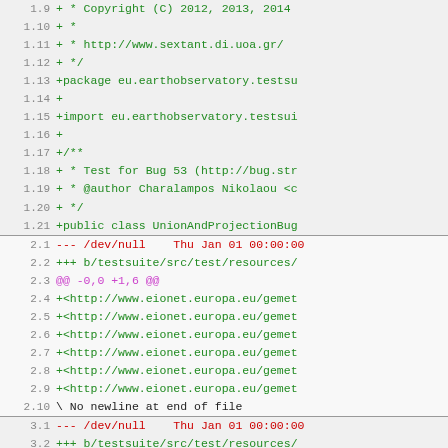[Figure (screenshot): Code diff viewer showing three sections of a diff: section 1 with Java source file lines 1.9-1.21 (green additions including copyright, package, import, and class declaration), section 2 with lines 2.1-2.10 (red/green diff header and green URL additions plus 'No newline at end of file'), section 3 with lines 3.1-3.8 (red/green diff header and green SPARQL query additions)]